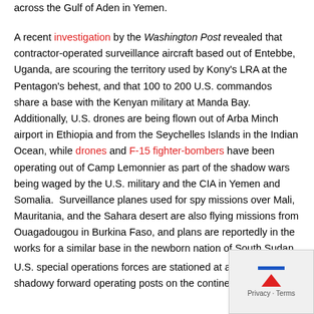across the Gulf of Aden in Yemen.
A recent investigation by the Washington Post revealed that contractor-operated surveillance aircraft based out of Entebbe, Uganda, are scouring the territory used by Kony's LRA at the Pentagon's behest, and that 100 to 200 U.S. commandos share a base with the Kenyan military at Manda Bay. Additionally, U.S. drones are being flown out of Arba Minch airport in Ethiopia and from the Seychelles Islands in the Indian Ocean, while drones and F-15 fighter-bombers have been operating out of Camp Lemonnier as part of the shadow wars being waged by the U.S. military and the CIA in Yemen and Somalia. Surveillance planes used for spy missions over Mali, Mauritania, and the Sahara desert are also flying missions from Ouagadougou in Burkina Faso, and plans are reportedly in the works for a similar base in the newborn nation of South Sudan.
U.S. special operations forces are stationed at a string of even shadowy forward operating posts on the continent, including o...